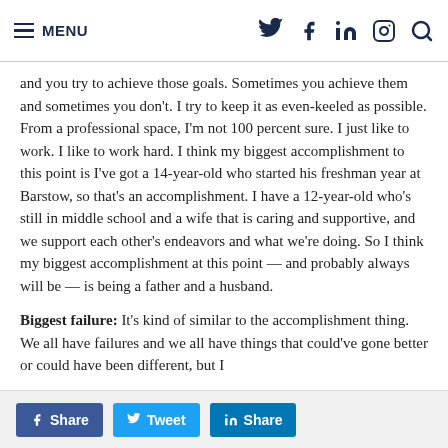MENU (navigation bar with Twitter, Facebook, LinkedIn, Instagram, Search icons)
and you try to achieve those goals. Sometimes you achieve them and sometimes you don't. I try to keep it as even-keeled as possible. From a professional space, I'm not 100 percent sure. I just like to work. I like to work hard. I think my biggest accomplishment to this point is I've got a 14-year-old who started his freshman year at Barstow, so that's an accomplishment. I have a 12-year-old who's still in middle school and a wife that is caring and supportive, and we support each other's endeavors and what we're doing. So I think my biggest accomplishment at this point — and probably always will be — is being a father and a husband.
Biggest failure: It's kind of similar to the accomplishment thing. We all have failures and we all have things that could've gone better or could have been different, but I
f Share   Tweet   in Share